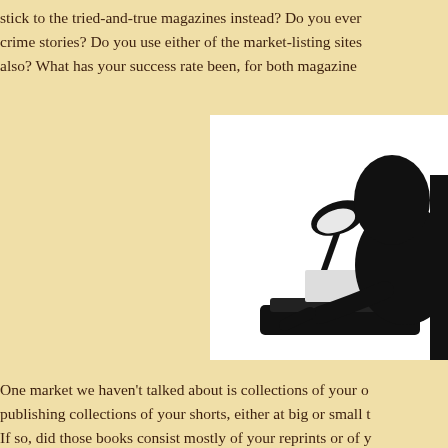stick to the tried-and-true magazines instead? Do you ever crime stories? Do you use either of the market-listing sites also? What has your success rate been, for both magazine
[Figure (illustration): Black silhouette of a person typing at a typewriter with a desk lamp, on white background.]
One market we haven't talked about is collections of your o publishing collections of your shorts, either at big or small t If so, did those books consist mostly of your reprints or of y published a collection, maybe via Amazon? Any experience